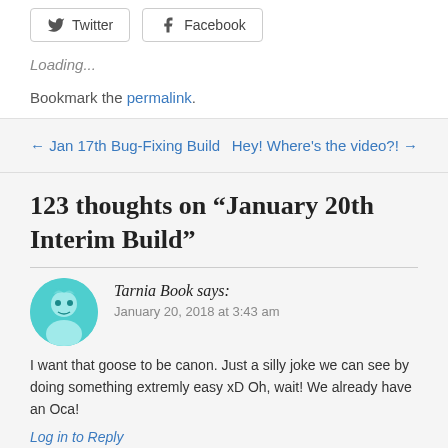Twitter  Facebook
Loading...
Bookmark the permalink.
← Jan 17th Bug-Fixing Build
Hey! Where's the video?! →
123 thoughts on “January 20th Interim Build”
Tarnia Book says:
January 20, 2018 at 3:43 am
I want that goose to be canon. Just a silly joke we can see by doing something extremly easy xD Oh, wait! We already have an Oca!
Log in to Reply